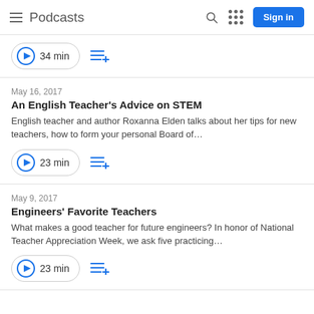Podcasts
34 min
May 16, 2017
An English Teacher's Advice on STEM
English teacher and author Roxanna Elden talks about her tips for new teachers, how to form your personal Board of…
23 min
May 9, 2017
Engineers' Favorite Teachers
What makes a good teacher for future engineers? In honor of National Teacher Appreciation Week, we ask five practicing…
23 min